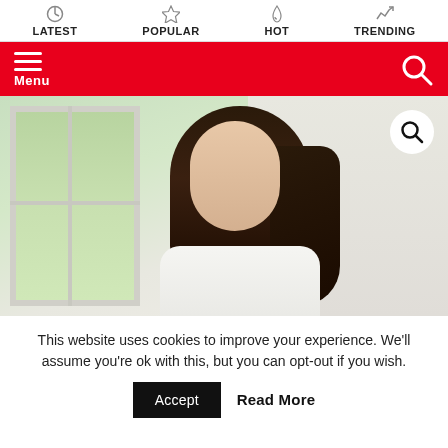LATEST | POPULAR | HOT | TRENDING
[Figure (screenshot): Red navigation bar with hamburger menu icon labeled Menu on left and search icon on right]
[Figure (photo): Photo of a realistic female figure with long dark hair wearing a white t-shirt, standing in front of a window with green foliage visible outside, interior white wall background]
This website uses cookies to improve your experience. We'll assume you're ok with this, but you can opt-out if you wish.
Accept   Read More